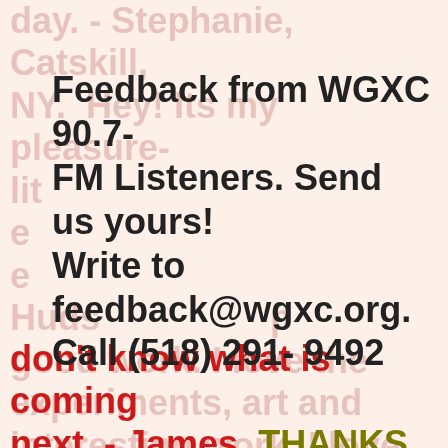day. - Stephanie, Catskill, NY. Hey! Its my pleasure- lit... e...every day, I love the e...experiments, art and e...every interesting work. Huds... p... good work. I love the experiments, art and interesting work. I love that I
Feedback from WGXC 90.7-FM Listeners. Send us yours! Write to feedback@wgxc.org. Call (518) 291- 9492
don't know what is coming next. - James  THANKS FOR Donald Drumpf Theatre!!! Wish I'd stumbled upon it